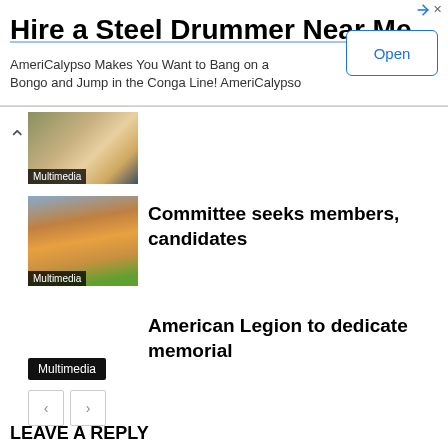[Figure (other): Advertisement banner: Hire a Steel Drummer Near Me. AmeriCalypso Makes You Want to Bang on a Bongo and Jump in the Conga Line! AmeriCalypso. Open button.]
[Figure (photo): Partial thumbnail image with Multimedia label and up chevron]
[Figure (photo): Thumbnail of orange building with Multimedia label]
Committee seeks members, candidates
American Legion to dedicate memorial
Multimedia
< >
LEAVE A REPLY